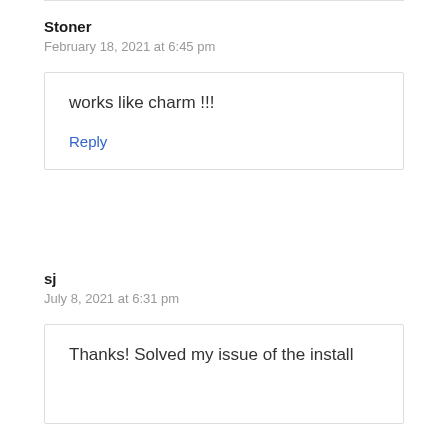Stoner
February 18, 2021 at 6:45 pm
works like charm !!!
Reply
sj
July 8, 2021 at 6:31 pm
Thanks! Solved my issue of the install